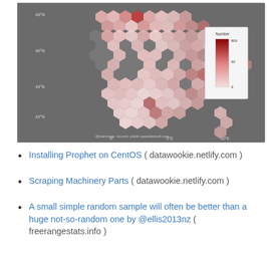[Figure (map): Hexbin choropleth map of France showing data density/count by geographic region. Hexagons colored from gray (no data) to light pink to dark red (high values). Latitude markers at 42°N, 44°N, 46°N, 48°N. Longitude markers at 0°, 5°E, 10°E. Legend shows 'Number' scale from 3 to 800+. A dark red hotspot is visible near Paris (north-central). Attribution: @statnmap - source: public.opendatasoft.com]
Installing Prophet on CentOS ( datawookie.netlify.com )
Scraping Machinery Parts ( datawookie.netlify.com )
A small simple random sample will often be better than a huge not-so-random one by @ellis2013nz ( freerangestats.info )